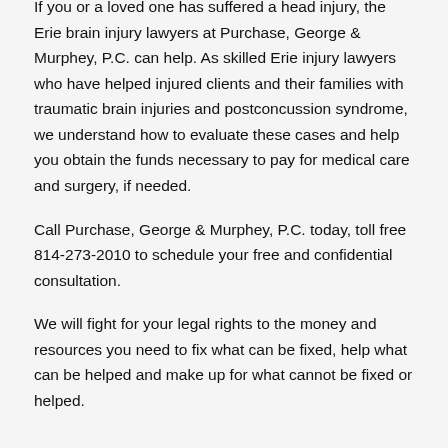If you or a loved one has suffered a head injury, the Erie brain injury lawyers at Purchase, George & Murphey, P.C. can help. As skilled Erie injury lawyers who have helped injured clients and their families with traumatic brain injuries and postconcussion syndrome, we understand how to evaluate these cases and help you obtain the funds necessary to pay for medical care and surgery, if needed.
Call Purchase, George & Murphey, P.C. today, toll free 814-273-2010 to schedule your free and confidential consultation.
We will fight for your legal rights to the money and resources you need to fix what can be fixed, help what can be helped and make up for what cannot be fixed or helped.